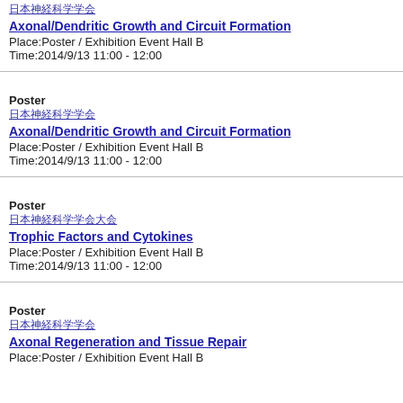日本神経科学学会
Axonal/Dendritic Growth and Circuit Formation
Place:Poster / Exhibition　Event Hall B
Time:2014/9/13 11:00 - 12:00
Poster
日本神経科学学会
Axonal/Dendritic Growth and Circuit Formation
Place:Poster / Exhibition　Event Hall B
Time:2014/9/13 11:00 - 12:00
Poster
日本神経科学学会大会
Trophic Factors and Cytokines
Place:Poster / Exhibition　Event Hall B
Time:2014/9/13 11:00 - 12:00
Poster
日本神経科学学会
Axonal Regeneration and Tissue Repair
Place:Poster / Exhibition　Event Hall B